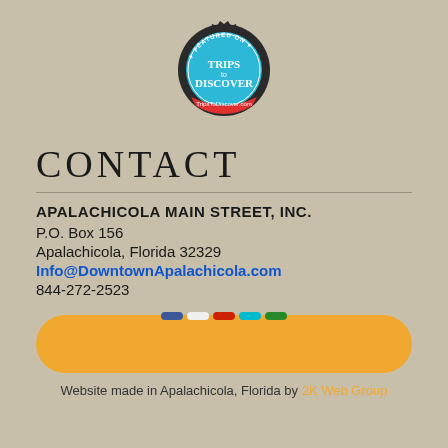[Figure (logo): Featured on Trips to Discover badge/seal with dark outer ring, light blue inner circle, red ribbon at bottom reading TripsToDiscover.com]
CONTACT
APALACHICOLA MAIN STREET, INC.
P.O. Box 156
Apalachicola, Florida 32329
Info@DowntownApalachicola.com
844-272-2523
[Figure (infographic): Orange rounded rectangle button with small colored social media icon dots (blue, white, red, cyan, green) appearing above it]
Website made in Apalachicola, Florida by 2K Web Group